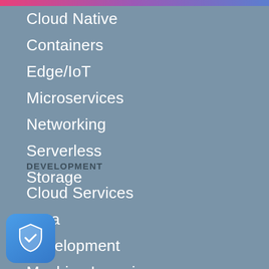Cloud Native
Containers
Edge/IoT
Microservices
Networking
Serverless
Storage
DEVELOPMENT
Cloud Services
Data
Development
Machine Learning
Security
[Figure (illustration): Shield icon with checkmark, representing security/VPN app icon in bottom-left corner]